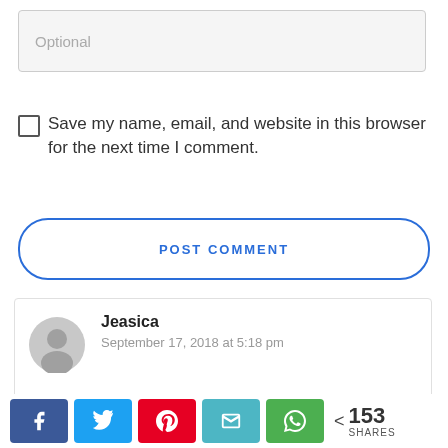[Figure (screenshot): Optional text input field with light gray background]
Save my name, email, and website in this browser for the next time I comment.
[Figure (screenshot): POST COMMENT button with blue outline and rounded corners]
[Figure (screenshot): Comment by Jeasica, dated September 17, 2018 at 5:18 pm, with avatar icon]
[Figure (infographic): Social share bar with Facebook, Twitter, Pinterest, Email, WhatsApp buttons and 153 SHARES count]